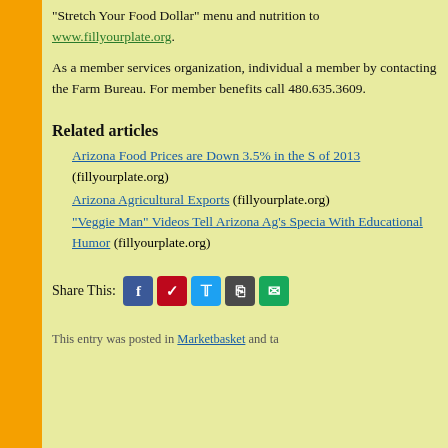“Stretch Your Food Dollar” menu and nutrition to www.fillyourplate.org.
As a member services organization, individual a member by contacting the Farm Bureau. For member benefits call 480.635.3609.
Related articles
Arizona Food Prices are Down 3.5% in the S of 2013 (fillyourplate.org)
Arizona Agricultural Exports (fillyourplate.org)
“Veggie Man” Videos Tell Arizona Ag’s Specia With Educational Humor (fillyourplate.org)
Share This: [Facebook] [Pinterest] [Twitter] [Print] [Email]
This entry was posted in Marketbasket and ta...